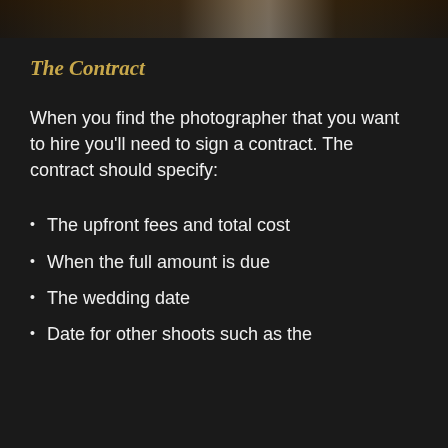[Figure (photo): Dark photograph strip at top of page, appears to be a wedding photo, mostly dark tones]
The Contract
When you find the photographer that you want to hire you'll need to sign a contract. The contract should specify:
The upfront fees and total cost
When the full amount is due
The wedding date
Date for other shoots such as the